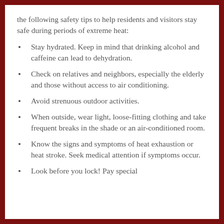the following safety tips to help residents and visitors stay safe during periods of extreme heat:
Stay hydrated. Keep in mind that drinking alcohol and caffeine can lead to dehydration.
Check on relatives and neighbors, especially the elderly and those without access to air conditioning.
Avoid strenuous outdoor activities.
When outside, wear light, loose-fitting clothing and take frequent breaks in the shade or an air-conditioned room.
Know the signs and symptoms of heat exhaustion or heat stroke. Seek medical attention if symptoms occur.
Look before you lock! Pay special